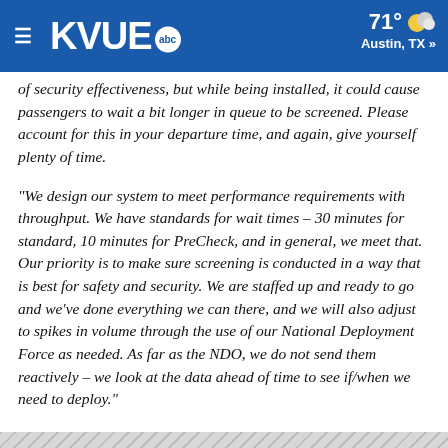KVUE abc — 71° Austin, TX »
of security effectiveness, but while being installed, it could cause passengers to wait a bit longer in queue to be screened. Please account for this in your departure time, and again, give yourself plenty of time.
"We design our system to meet performance requirements with throughput. We have standards for wait times – 30 minutes for standard, 10 minutes for PreCheck, and in general, we meet that. Our priority is to make sure screening is conducted in a way that is best for safety and security. We are staffed up and ready to go and we've done everything we can there, and we will also adjust to spikes in volume through the use of our National Deployment Force as needed. As far as the NDO, we do not send them reactively – we look at the data ahead of time to see if/when we need to deploy."